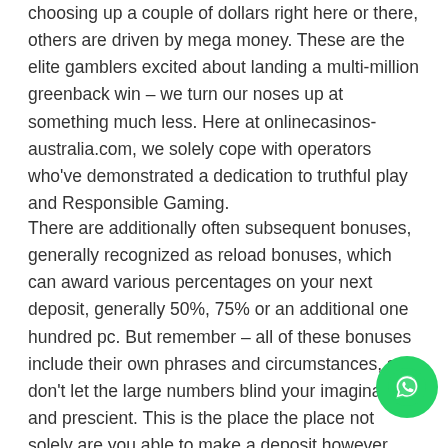choosing up a couple of dollars right here or there, others are driven by mega money. These are the elite gamblers excited about landing a multi-million greenback win – we turn our noses up at something much less. Here at onlinecasinos-australia.com, we solely cope with operators who've demonstrated a dedication to truthful play and Responsible Gaming.
There are additionally often subsequent bonuses, generally recognized as reload bonuses, which can award various percentages on your next deposit, generally 50%, 75% or an additional one hundred pc. But remember – all of these bonuses include their own phrases and circumstances, so don't let the large numbers blind your imaginative and prescient. This is the place the place not solely are you able to make a deposit however cash out your winnings. There is a wide choice of withdrawing strategies together with financial institution transfers, debit playing cards and, in fact, e-wallets. The status is that thing that
[Figure (other): WhatsApp floating action button (green circle with phone/WhatsApp icon)]